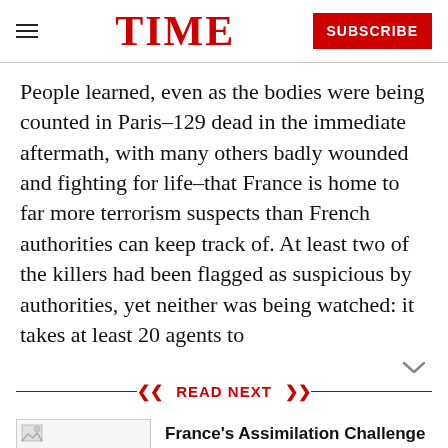TIME  SUBSCRIBE
People learned, even as the bodies were being counted in Paris–129 dead in the immediate aftermath, with many others badly wounded and fighting for life–that France is home to far more terrorism suspects than French authorities can keep track of. At least two of the killers had been flagged as suspicious by authorities, yet neither was being watched: it takes at least 20 agents to
READ NEXT
France's Assimilation Challenge